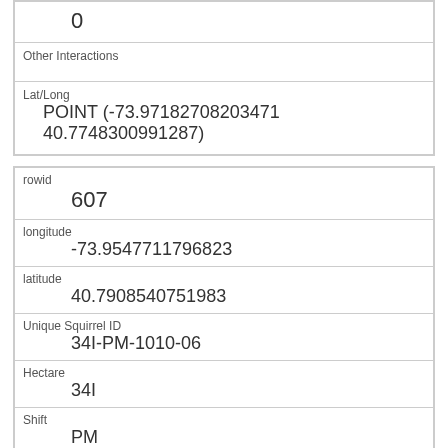| 0 |
| Other Interactions |  |
| Lat/Long | POINT (-73.97182708203471 40.7748300991287) |
| rowid | 607 |
| longitude | -73.9547711796823 |
| latitude | 40.7908540751983 |
| Unique Squirrel ID | 34I-PM-1010-06 |
| Hectare | 34I |
| Shift | PM |
| Date | 10102018 |